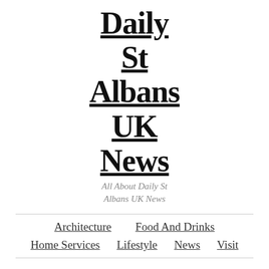Daily St Albans UK News
All About Daily St Albans UK News
Architecture
Food And Drinks
Home Services
Lifestyle
News
Visit
Here's The Skinny On Internet